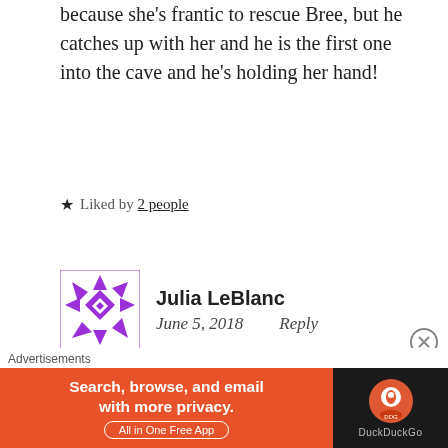because she's frantic to rescue Bree, but he catches up with her and he is the first one into the cave and he's holding her hand!
★ Liked by 2 people
Julia LeBlanc
June 5, 2018    Reply
LOL. Ummm....No. Claire was the one that went into the cave first in the book! Re-
Advertisements
Search, browse, and email with more privacy. All in One Free App  DuckDuckGo